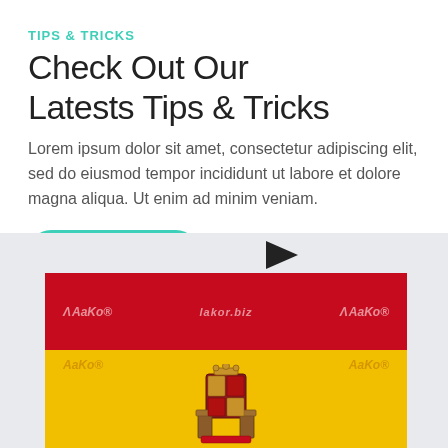TIPS & TRICKS
Check Out Our Latests Tips & Tricks
Lorem ipsum dolor sit amet, consectetur adipiscing elit, sed do eiusmod tempor incididunt ut labore et dolore magna aliqua. Ut enim ad minim veniam.
SEE MORE
[Figure (photo): Screenshot of a website showing a play button icon and a card with the Spanish flag (red and yellow stripes with coat of arms). The card shows 'AAKOR', 'lakor.biz', and 'AAKOR' text overlaid on the red stripe, set against a light gray background.]